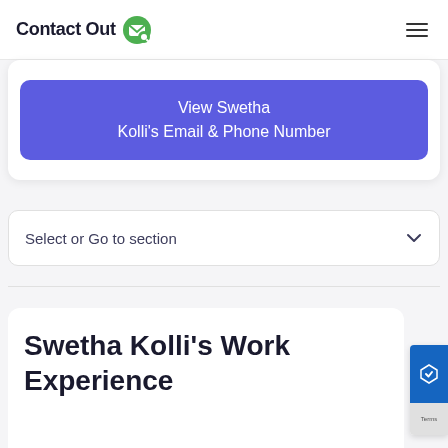Contact Out
View Swetha Kolli's Email & Phone Number
Select or Go to section
Swetha Kolli's Work Experience